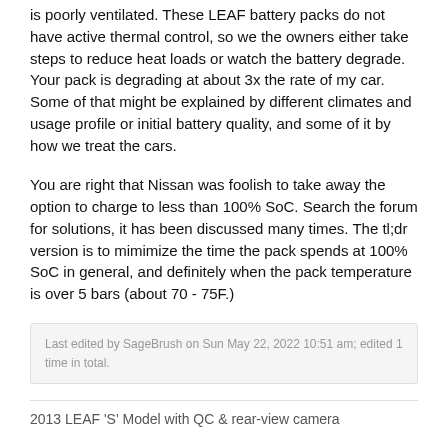is poorly ventilated. These LEAF battery packs do not have active thermal control, so we the owners either take steps to reduce heat loads or watch the battery degrade. Your pack is degrading at about 3x the rate of my car. Some of that might be explained by different climates and usage profile or initial battery quality, and some of it by how we treat the cars.
You are right that Nissan was foolish to take away the option to charge to less than 100% SoC. Search the forum for solutions, it has been discussed many times. The tl;dr version is to mimimize the time the pack spends at 100% SoC in general, and definitely when the pack temperature is over 5 bars (about 70 - 75F.)
Last edited by SageBrush on Sun May 22, 2022 10:51 am; edited 1 time in total.
2013 LEAF 'S' Model with QC & rear-view camera